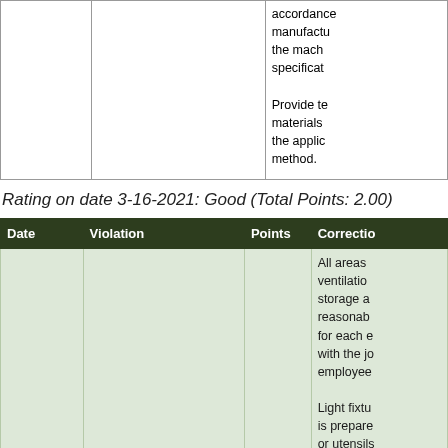| Date | Violation | Points | Correction |
| --- | --- | --- | --- |
|  |  |  | accordance manufacturer the mach specificat

Provide te materials the applic method. |
Rating on date 3-16-2021: Good (Total Points: 2.00)
| Date | Violation | Points | Correctio |
| --- | --- | --- | --- |
|  |  |  | All areas ventilation storage a reasonab for each e with the j employee

Light fixtu is prepare or utensils shatterpro hprete |